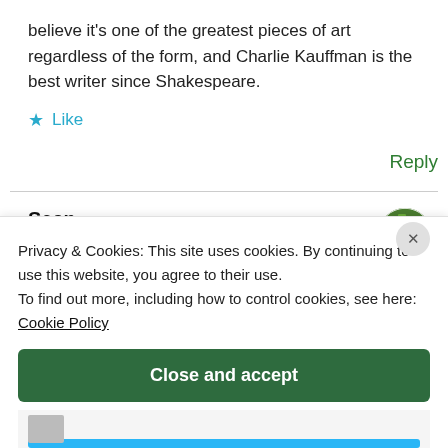believe it's one of the greatest pieces of art regardless of the form, and Charlie Kauffman is the best writer since Shakespeare.
★ Like
Reply
Sean
March 25, 2013 at 11:16 am
[Figure (other): Green and white circular avatar with mosaic pattern]
Privacy & Cookies: This site uses cookies. By continuing to use this website, you agree to their use. To find out more, including how to control cookies, see here: Cookie Policy
Close and accept